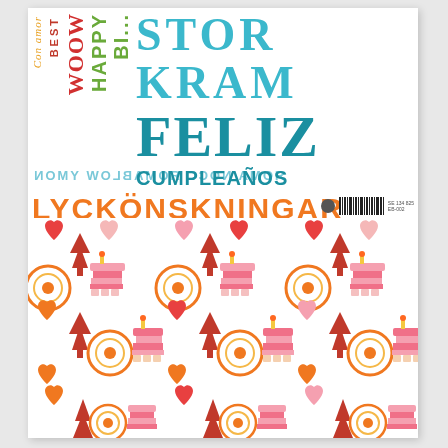[Figure (illustration): Birthday greeting card with multilingual text typography: STOR KRAM (Swedish, teal), FELIZ CUMPLEAÑOS (Spanish, teal/dark teal), LYCKÖNSKNINGAR (Swedish, orange), HAPPY BIRTHDAY (green vertical), WOOW (red vertical), BEST (red vertical), Con amor (gold italic vertical). Lower half shows colorful repeating birthday pattern with cakes, hearts, trees, and decorative elements in pink, red, and orange on white background.]